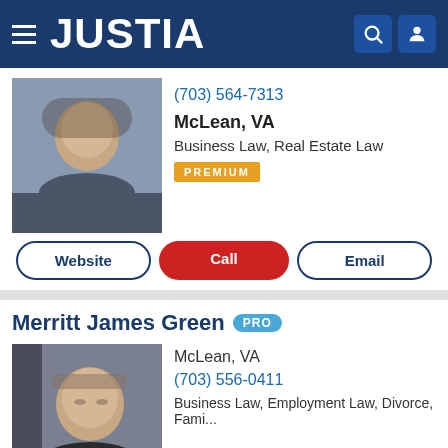JUSTIA
(703) 564-7313
McLean, VA
Business Law, Real Estate Law
PREMIUM
Website | Call | Email
Merritt James Green PRO
[Figure (photo): Headshot of Merritt James Green, a middle-aged man with light hair and glasses wearing a dark suit]
McLean, VA
(703) 556-0411
Business Law, Employment Law, Divorce, Fami...
Website | Call | Email